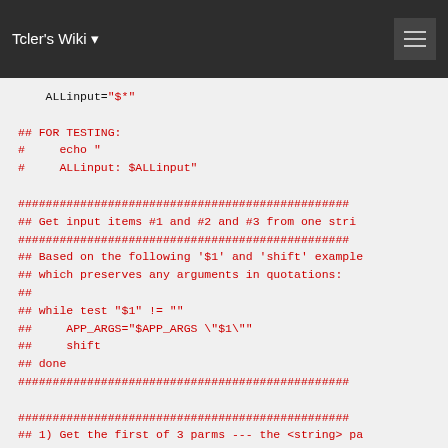Tcler's Wiki
ALLinput="$*"

## FOR TESTING:
#     echo "
#     ALLinput: $ALLinput"

################################################
## Get input items #1 and #2 and #3 from one stri
################################################
## Based on the following '$1' and 'shift' example
## which preserves any arguments in quotations:
##
## while test "$1" != ""
##     APP_ARGS="$APP_ARGS \"$1\""
##     shift
## done
################################################

################################################
## 1) Get the first of 3 parms --- the <string> pa
################################################